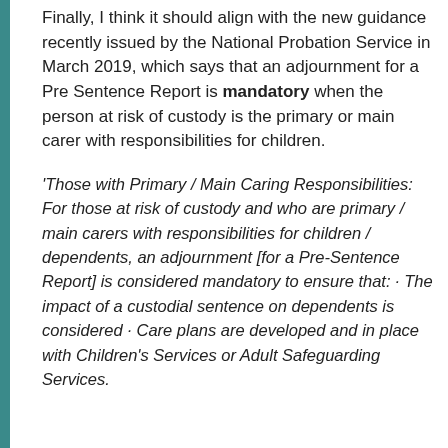Finally, I think it should align with the new guidance recently issued by the National Probation Service in March 2019, which says that an adjournment for a Pre Sentence Report is mandatory when the person at risk of custody is the primary or main carer with responsibilities for children.
'Those with Primary / Main Caring Responsibilities: For those at risk of custody and who are primary / main carers with responsibilities for children / dependents, an adjournment [for a Pre-Sentence Report] is considered mandatory to ensure that: · The impact of a custodial sentence on dependents is considered · Care plans are developed and in place with Children's Services or Adult Safeguarding Services.